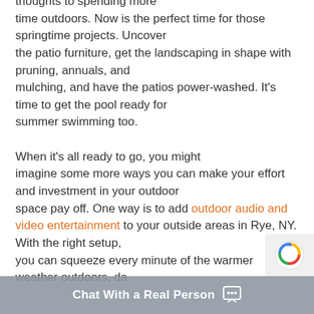thoughts to spending more time outdoors. Now is the perfect time for those springtime projects. Uncover the patio furniture, get the landscaping in shape with pruning, annuals, and mulching, and have the patios power-washed. It's time to get the pool ready for summer swimming too.

When it's all ready to go, you might imagine some more ways you can make your effort and investment in your outdoor space pay off. One way is to add outdoor audio and video entertainment to your outside areas in Rye, NY. With the right setup, you can squeeze every minute of the warmer weather outdoors, da...
[Figure (other): Chat With a Real Person chat widget overlay at the bottom of the page, with a reCAPTCHA badge in the bottom-right corner.]